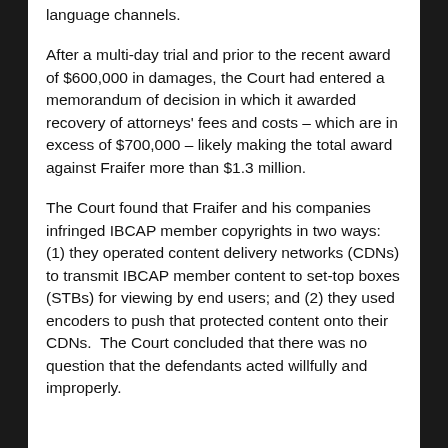language channels.
After a multi-day trial and prior to the recent award of $600,000 in damages, the Court had entered a memorandum of decision in which it awarded recovery of attorneys' fees and costs – which are in excess of $700,000 – likely making the total award against Fraifer more than $1.3 million.
The Court found that Fraifer and his companies infringed IBCAP member copyrights in two ways: (1) they operated content delivery networks (CDNs) to transmit IBCAP member content to set-top boxes (STBs) for viewing by end users; and (2) they used encoders to push that protected content onto their CDNs.  The Court concluded that there was no question that the defendants acted willfully and improperly.